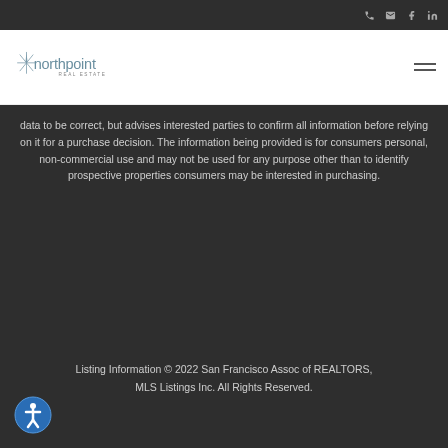northpoint REAL ESTATE
data to be correct, but advises interested parties to confirm all information before relying on it for a purchase decision. The information being provided is for consumers personal, non-commercial use and may not be used for any purpose other than to identify prospective properties consumers may be interested in purchasing.
Listing Information © 2022 San Francisco Assoc of REALTORS, MLS Listings Inc. All Rights Reserved.
[Figure (illustration): Accessibility icon button - circular button with person/human figure symbol]